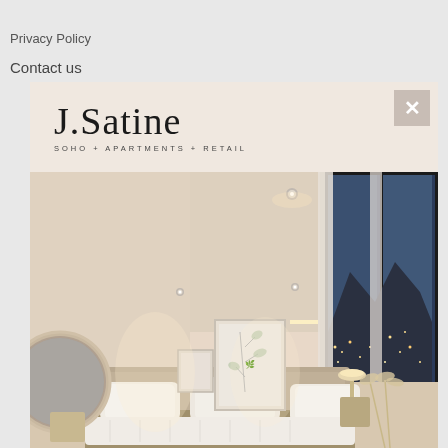Privacy Policy
Contact us
[Figure (logo): J.Satine logo with tagline SOHO + APARTMENTS + RETAIL]
[Figure (photo): Modern luxury bedroom interior with warm beige tones, recessed ceiling lights, a large window showing nighttime city view, a circular mirror, framed artwork, and a bed with white bedding]